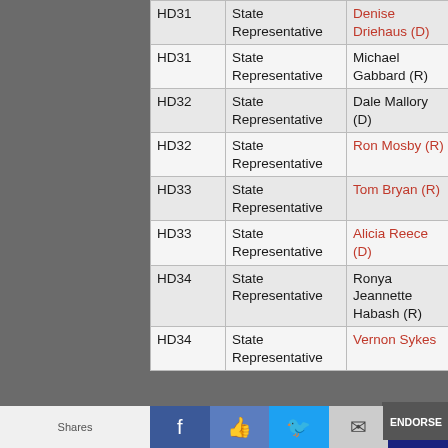| District | Office | Candidate | Result | Endorsement |
| --- | --- | --- | --- | --- |
| HD31 | State Representative | Denise Driehaus (D) | D |  |
| HD31 | State Representative | Michael Gabbard (R) | Aq |  |
| HD32 | State Representative | Dale Mallory (D) | D |  |
| HD32 | State Representative | Ron Mosby (R) | ?? |  |
| HD33 | State Representative | Tom Bryan (R) | A | ENDORSE |
| HD33 | State Representative | Alicia Reece (D) | D |  |
| HD34 | State Representative | Ronya Jeannette Habash (R) | ?? |  |
| HD34 | State Representative | Vernon Sykes (D) | D |  |